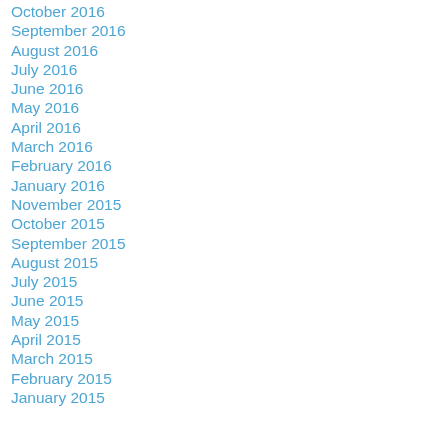October 2016
September 2016
August 2016
July 2016
June 2016
May 2016
April 2016
March 2016
February 2016
January 2016
November 2015
October 2015
September 2015
August 2015
July 2015
June 2015
May 2015
April 2015
March 2015
February 2015
January 2015